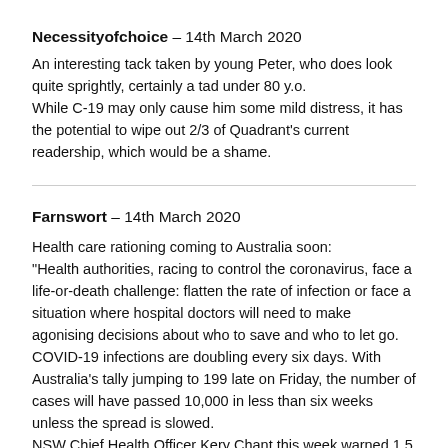Necessityofchoice – 14th March 2020
An interesting tack taken by young Peter, who does look quite sprightly, certainly a tad under 80 y.o.
While C-19 may only cause him some mild distress, it has the potential to wipe out 2/3 of Quadrant's current readership, which would be a shame.
Farnswort – 14th March 2020
Health care rationing coming to Australia soon:
"Health authorities, racing to control the coronavirus, face a life-or-death challenge: flatten the rate of infection or face a situation where hospital doctors will need to make agonising decisions about who to save and who to let go.
COVID-19 infections are doubling every six days. With Australia's tally jumping to 199 late on Friday, the number of cases will have passed 10,000 in less than six weeks unless the spread is slowed.
NSW Chief Health Officer Kery Chant this week warned 1.5